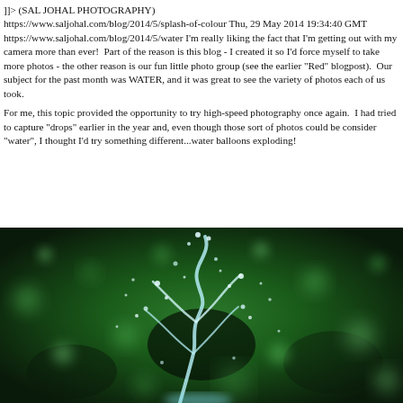]]> (SAL JOHAL PHOTOGRAPHY)
https://www.saljohal.com/blog/2014/5/splash-of-colour Thu, 29 May 2014 19:34:40 GMT
https://www.saljohal.com/blog/2014/5/water I'm really liking the fact that I'm getting out with my camera more than ever!  Part of the reason is this blog - I created it so I'd force myself to take more photos - the other reason is our fun little photo group (see the earlier "Red" blogpost).  Our subject for the past month was WATER, and it was great to see the variety of photos each of us took.

For me, this topic provided the opportunity to try high-speed photography once again.  I had tried to capture "drops" earlier in the year and, even though those sort of photos could be consider "water", I thought I'd try something different...water balloons exploding!
[Figure (photo): High-speed photograph of a water balloon exploding, showing a splash of water against a green bokeh background. The water forms a tree-like shape as it bursts, with droplets scattered around.]